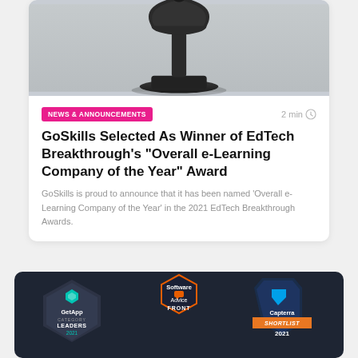[Figure (photo): Top portion of a dark bell/award trophy on a grey background]
NEWS & ANNOUNCEMENTS
2 min
GoSkills Selected As Winner of EdTech Breakthrough’s “Overall e-Learning Company of the Year” Award
GoSkills is proud to announce that it has been named ‘Overall e-Learning Company of the Year’ in the 2021 EdTech Breakthrough Awards.
[Figure (infographic): Dark card showing GetApp Category Leaders 2021, Capterra Shortlist 2021, and Software Advice FRONT badge logos]